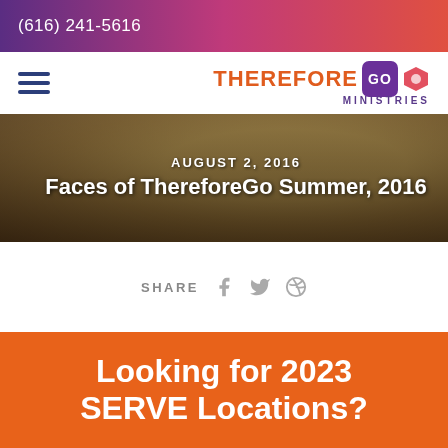(616) 241-5616
[Figure (logo): Therefore Go Ministries logo with hamburger menu icon]
[Figure (photo): Hero banner with photo of person wearing yellow hat, overlaid with text: AUGUST 2, 2016 and Faces of ThereforeGo Summer, 2016]
Faces of ThereforeGo Summer, 2016
SHARE
Looking for 2023 SERVE Locations?